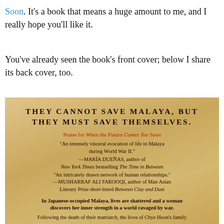Soon. It's a book that means a huge amount to me, and I really hope you'll like it.
You've already seen the book's front cover; below I share its back cover, too.
[Figure (photo): Back cover of the book 'When the Future Comes Too Soon' on a parchment-textured background. Contains the tagline 'THEY CANNOT SAVE MALAYA, BUT THEY MUST SAVE THEMSELVES.', praise section with quotes from María Dueñas and Musharraf Ali Farooqi, and a bold blurb about Japanese-occupied Malaya followed by text about Chye Hoon's family.]